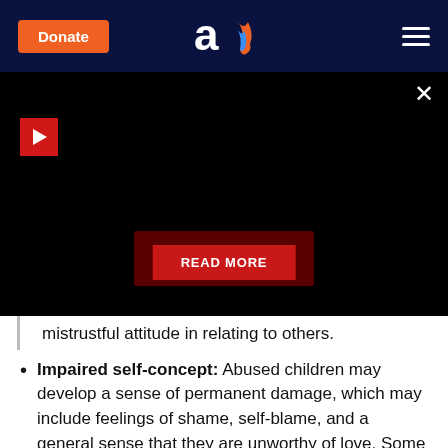Donate | [Aish logo] | [menu]
[Figure (screenshot): Black video player area with red play button, close X button, and red READ MORE overlay button]
mistrustful attitude in relating to others.
Impaired self-concept: Abused children may develop a sense of permanent damage, which may include feelings of shame, self-blame, and a general sense that they are unworthy of love. Some react by gravitating to peer groups dominated by rejected or rebellious children, since they view themselves as not deserving to be in the mainstream.